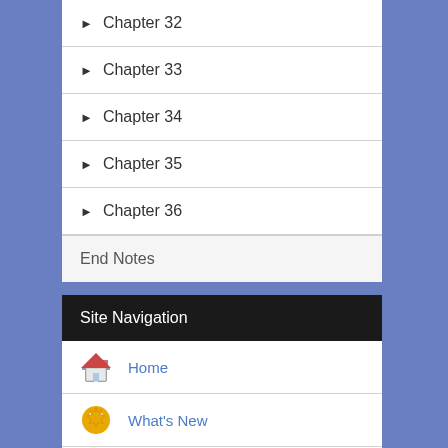► Chapter 32
► Chapter 33
► Chapter 34
► Chapter 35
► Chapter 36
End Notes
Site Navigation
Home
What's New
Bible
Photos